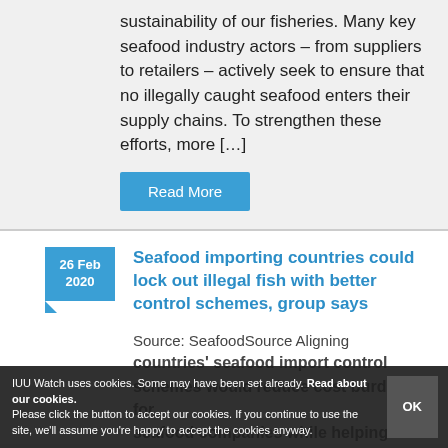sustainability of our fisheries. Many key seafood industry actors – from suppliers to retailers – actively seek to ensure that no illegally caught seafood enters their supply chains. To strengthen these efforts, more […]
Read More
26 Feb 2020
Seafood importing countries could lock out illegal fish with better control schemes, group says
Source: SeafoodSource Aligning countries' seafood import control schemes would reduce cost burdens for seafood companies while helping
IUU Watch uses cookies. Some may have been set already. Read about our cookies. Please click the button to accept our cookies. If you continue to use the site, we'll assume you're happy to accept the cookies anyway.
OK